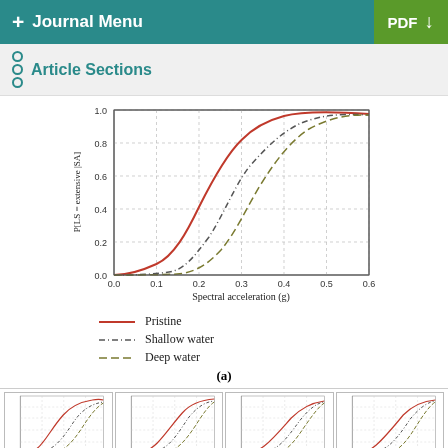+ Journal Menu    PDF ↓
Article Sections
[Figure (continuous-plot): Fragility curve plot showing P[LS = extensive | SA] vs Spectral acceleration (g) for three conditions: Pristine (solid red line), Shallow water (dark gray dash-dot line), Deep water (olive/light dash line). Y-axis: 0.0 to 1.0, X-axis: 0.0 to 0.6.]
(a)
[Figure (continuous-plot): Four small fragility curve subplots arranged in a row, each showing similar S-curve plots with y-axis labeled P[LS = extensive |SA] and x-axis ranging 0.0 to 0.6.]